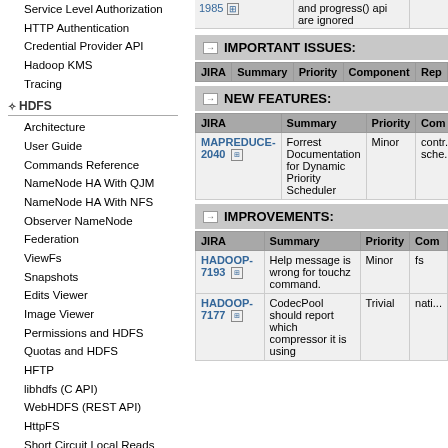Service Level Authorization
HTTP Authentication
Credential Provider API
Hadoop KMS
Tracing
HDFS
Architecture
User Guide
Commands Reference
NameNode HA With QJM
NameNode HA With NFS
Observer NameNode
Federation
ViewFs
Snapshots
Edits Viewer
Image Viewer
Permissions and HDFS
Quotas and HDFS
HFTP
libhdfs (C API)
WebHDFS (REST API)
HttpFS
Short Circuit Local Reads
Centralized Cache Management
NFS Gateway
Rolling Upgrade
Extended Attributes
Transparent Encryption
Multihoming
Storage Policies
Memory Storage Support
IMPORTANT ISSUES:
| JIRA | Summary | Priority | Component | Rep... |
| --- | --- | --- | --- | --- |
NEW FEATURES:
| JIRA | Summary | Priority | Com... |
| --- | --- | --- | --- |
| MAPREDUCE-2040 | Forrest Documentation for Dynamic Priority Scheduler | Minor | contr... sche... |
IMPROVEMENTS:
| JIRA | Summary | Priority | Com... |
| --- | --- | --- | --- |
| HADOOP-7193 | Help message is wrong for touchz command. | Minor | fs |
| HADOOP-7177 | CodecPool should report which compressor it is using | Trivial | nati... |